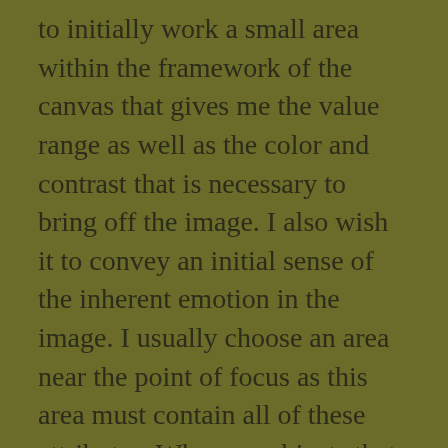to initially work a small area within the framework of the canvas that gives me the value range as well as the color and contrast that is necessary to bring off the image. I also wish it to convey an initial sense of the inherent emotion in the image. I usually choose an area near the point of focus as this area must contain all of these attributes. Whereas, objects that move away from the central point of focus will contain less contrast, looser edges and less intense color. Once I have a handle on this, which is crucial, I have a key to base my lay-in on.
The lay-in takes a lot of time and one must have patience and not rush through the